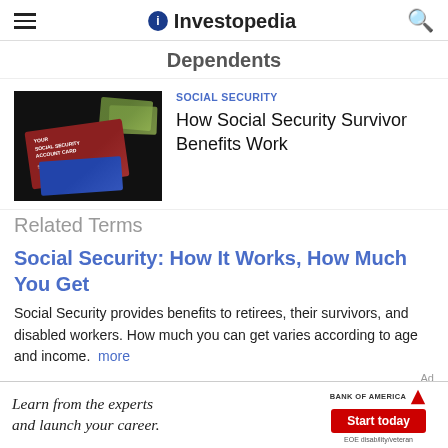Investopedia
Dependents
[Figure (photo): Social Security card and money on dark background]
SOCIAL SECURITY
How Social Security Survivor Benefits Work
Related Terms
Social Security: How It Works, How Much You Get
Social Security provides benefits to retirees, their survivors, and disabled workers. How much you can get varies according to age and income. more
How Social Security Benefits Work
[Figure (other): Bank of America advertisement: Learn from the experts and launch your career. Start today. EOE disability/veteran]